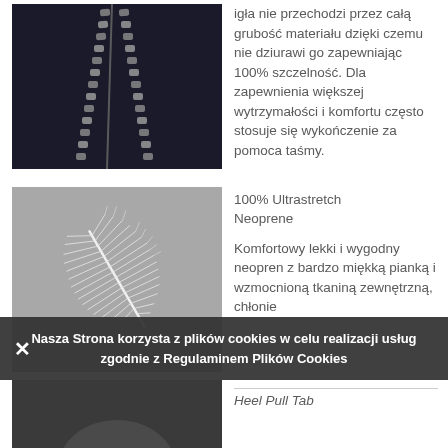[Figure (photo): Close-up photo of a zipper on dark fabric material]
igła nie przechodzi przez całą grubość materiału dzięki czemu nie dziurawi go zapewniając 100% szczelność. Dla zapewnienia większej wytrzymałości i komfortu często stosuje się wykończenie za pomoca taśmy.
[Figure (photo): Photo of a white feather on grey background]
100% Ultrastretch Neoprene

Komfortowy lekki i wygodny neopren z bardzo miękką pianką i wzmocnioną tkaniną zewnętrzną, chłonie
Nasza Strona korzysta z plików cookies w celu realizacji usług zgodnie z Regulaminem Plików Cookies
[Figure (photo): Partial photo at bottom of page, dark image]
Heel Pull Tab